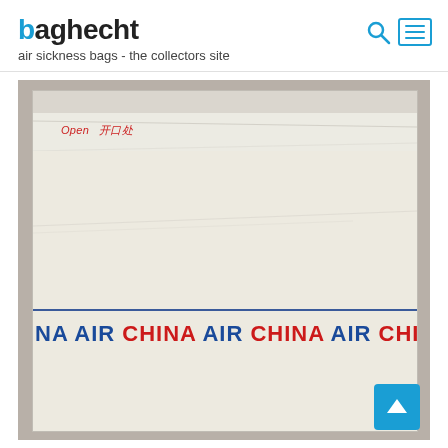baghecht - air sickness bags - the collectors site
[Figure (photo): Air China air sickness bag, white paper bag showing the top flap with 'Open 开口处' printed in red italic text, and a repeating 'AIR CHINA' banner in red and blue bold text across the middle of the bag]